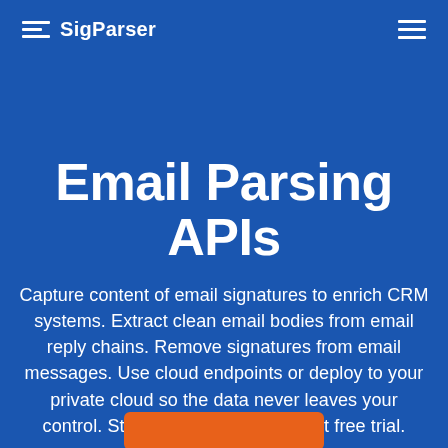SigParser
Email Parsing APIs
Capture content of email signatures to enrich CRM systems. Extract clean email bodies from email reply chains. Remove signatures from email messages. Use cloud endpoints or deploy to your private cloud so the data never leaves your control. Start with a no-commitment free trial.